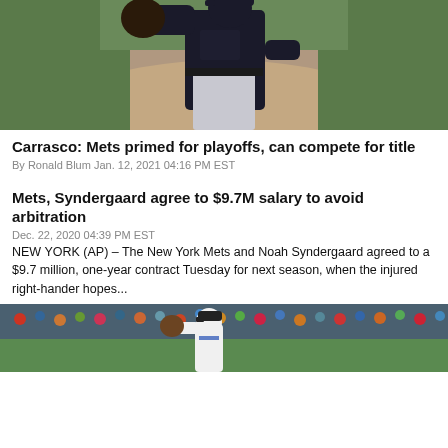[Figure (photo): Baseball player in dark uniform holding a glove on a baseball field]
Carrasco: Mets primed for playoffs, can compete for title
By Ronald Blum Jan. 12, 2021 04:16 PM EST
Mets, Syndergaard agree to $9.7M salary to avoid arbitration
Dec. 22, 2020 04:39 PM EST
NEW YORK (AP) – The New York Mets and Noah Syndergaard agreed to a $9.7 million, one-year contract Tuesday for next season, when the injured right-hander hopes...
[Figure (photo): Baseball player in white uniform on a baseball field]